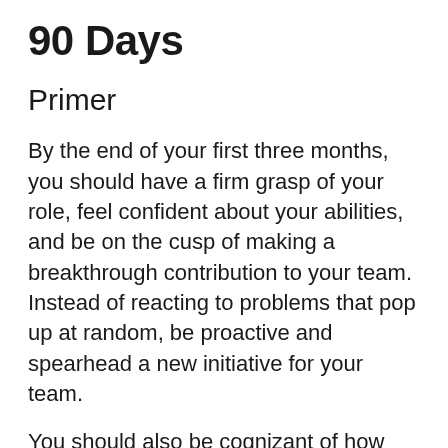90 Days
Primer
By the end of your first three months, you should have a firm grasp of your role, feel confident about your abilities, and be on the cusp of making a breakthrough contribution to your team. Instead of reacting to problems that pop up at random, be proactive and spearhead a new initiative for your team.
You should also be cognizant of how you can collaborate with other teams to improve your own team's processes. By taking on some new projects outside of your main role, you'll start turning some heads and catch the